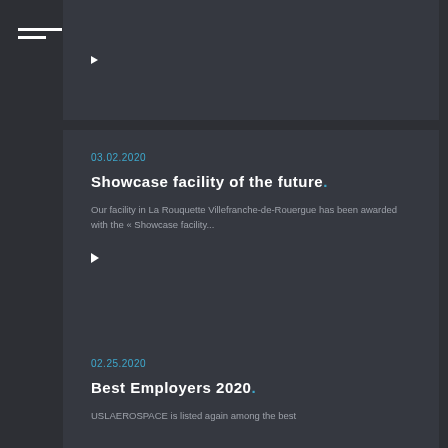[Figure (other): Top partial card with a right-pointing triangle/arrow icon, dark background]
Menu icon (two horizontal lines)
03.02.2020
Showcase facility of the future.
Our facility in La Rouquette Villefranche-de-Rouergue has been awarded with the « Showcase facility...
02.25.2020
Best Employers 2020.
USLAEROSPACE is listed again among the best